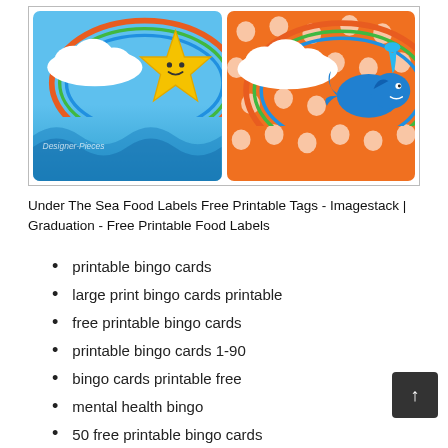[Figure (illustration): Two decorative food label cards side by side: left card has blue ocean wave background with a yellow smiling star and a white cloud-shaped label frame with colorful border; right card has orange polka dot background with a blue whale and a white cloud-shaped label frame with colorful border. A watermark reads 'Designer-Pieces'.]
Under The Sea Food Labels Free Printable Tags - Imagestack | Graduation - Free Printable Food Labels
printable bingo cards
large print bingo cards printable
free printable bingo cards
printable bingo cards 1-90
bingo cards printable free
mental health bingo
50 free printable bingo cards
hard word search printable
large print word search printable